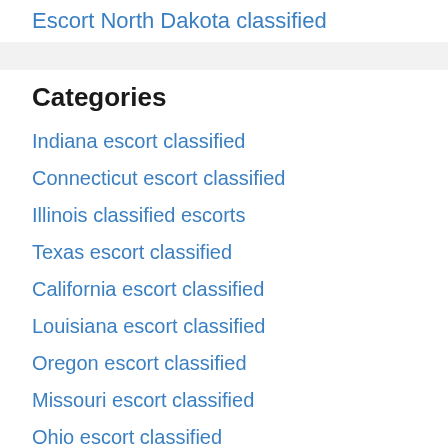Escort North Dakota classified
Categories
Indiana escort classified
Connecticut escort classified
Illinois classified escorts
Texas escort classified
California escort classified
Louisiana escort classified
Oregon escort classified
Missouri escort classified
Ohio escort classified